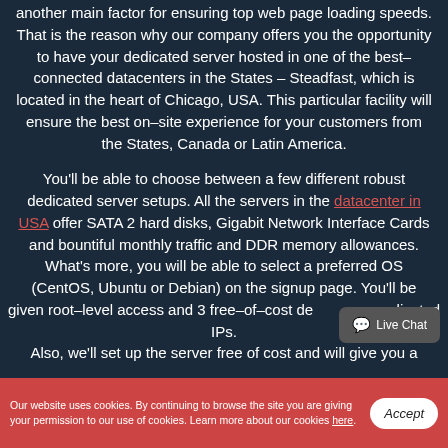another main factor for ensuring top web page loading speeds. That is the reason why our company offers you the opportunity to have your dedicated server hosted in one of the best–connected datacenters in the States – Steadfast, which is located in the heart of Chicago, USA. This particular facility will ensure the best on–site experience for your customers from the States, Canada or Latin America.
You'll be able to choose between a few different robust dedicated server setups. All the servers in the datacenter in USA offer SATA 2 hard disks, Gigabit Network Interface Cards and bountiful monthly traffic and DDR memory allowances. What's more, you will be able to select a preferred OS (CentOS, Ubuntu or Debian) on the signup page. You'll be given root–level access and 3 free–of–cost dedicated IPs. Also, we'll set up the server free of cost and will give you a
Our website uses cookies. By continuing to browse the site you are giving your permission to our use of cookies. Learn more about our cookies here.